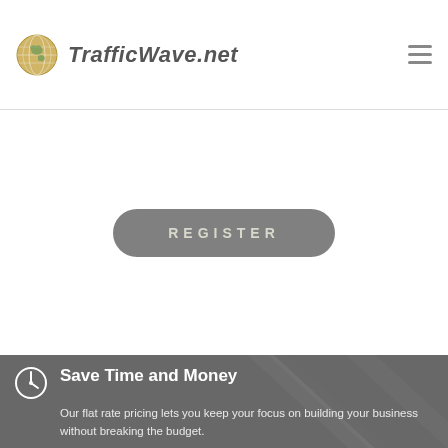TrafficWave.net
[Figure (other): REGISTER button - rounded pill-shaped grey button with white text in uppercase spaced letters]
[Figure (photo): Dark grey background image with blurred pen/pencil visual]
Save Time and Money
Our flat rate pricing lets you keep your focus on building your business without breaking the budget.